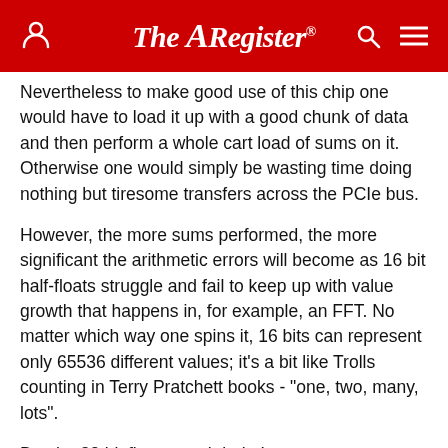The Register
Nevertheless to make good use of this chip one would have to load it up with a good chunk of data and then perform a whole cart load of sums on it. Otherwise one would simply be wasting time doing nothing but tiresome transfers across the PCIe bus.
However, the more sums performed, the more significant the arithmetic errors will become as 16 bit half-floats struggle and fail to keep up with value growth that happens in, for example, an FFT. No matter which way one spins it, 16 bits can represent only 65536 different values; it's a bit like Trolls counting in Terry Pratchett books - "one, two, many, lots".
But the 32 bit floats, yeah baby!
I'm still not convinced though - a stonking great compute engine at the end of a PCIe connection is in the wrong place; you still have to transfer the data